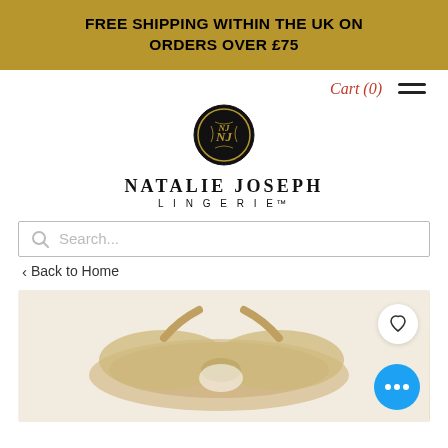FREE SHIPPING WITHIN THE UK ON ORDERS OVER £75
Cart (0)
[Figure (logo): Natalie Joseph Lingerie logo — circular black medallion with gold NJ monogram, below which reads NATALIE JOSEPH LINGERIE in spaced serif lettering]
Search...
< Back to Home
[Figure (photo): Beige/nude lingerie item (appears to be a bra or similar garment) on a light background, with a white circular wishlist heart button overlay and a blue circular chat button with three dots]